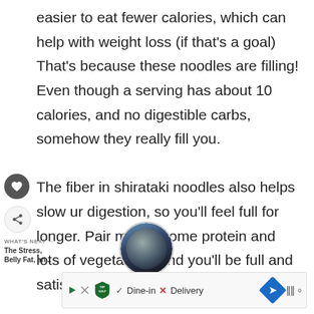easier to eat fewer calories, which can help with weight loss (if that's a goal) That's because these noodles are filling! Even though a serving has about 10 calories, and no digestible carbs, somehow they really fill you.

The fiber in shirataki noodles also helps slow ur digestion, so you'll feel full for longer. Pair m with some protein and lots of vegetables, and you'll be full and satisfied for hours at a low calorie cost.
[Figure (screenshot): Website UI overlay elements: heart/favorite button (dark circle), share button, 'WHAT'S NEXT' label with arrow, 'The Stress, Belly Fat, an...' next article label, circular thumbnail image of a person, and an advertisement banner at the bottom showing TopGolf logo with Dine-in and Delivery options]